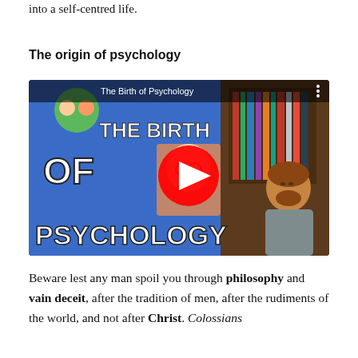into a self-centred life.
The origin of psychology
[Figure (screenshot): YouTube video thumbnail titled 'The Birth of Psychology' showing a man with a beard and a cartoon character, with a large red YouTube play button in the center. Text reads 'THE BIRTH OF PSYCHOLOGY' in bold white letters on a blue background.]
Beware lest any man spoil you through philosophy and vain deceit, after the tradition of men, after the rudiments of the world, and not after Christ. Colossians